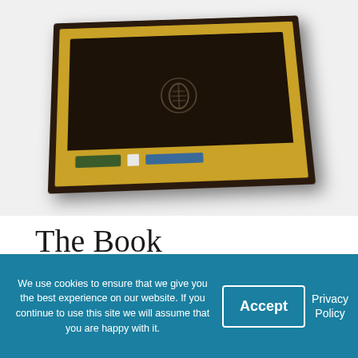[Figure (photo): A chocolate gift box with dark brown exterior, gold inner border, a dark notebook/book on top with a leaf cacao logo embossed, and a bottom tray with colored items (green bar, white square, blue pen).]
The Book
In addition to the chocolates the box contains a 60 page booklet which reveals the rigorous selection
We use cookies to ensure that we give you the best experience on our website. If you continue to use this site we will assume that you are happy with it.
Accept
Privacy Policy